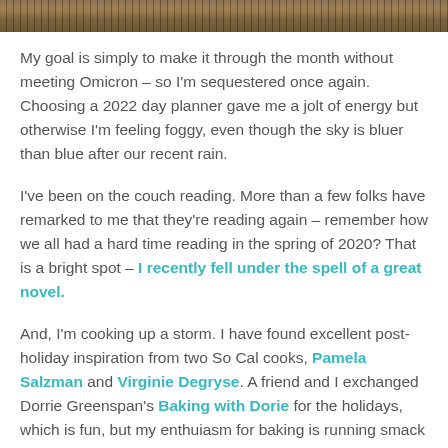[Figure (photo): Decorative header image showing a woven or striped textile/basket pattern in brown and tan tones]
My goal is simply to make it through the month without meeting Omicron – so I'm sequestered once again. Choosing a 2022 day planner gave me a jolt of energy but otherwise I'm feeling foggy, even though the sky is bluer than blue after our recent rain.
I've been on the couch reading. More than a few folks have remarked to me that they're reading again – remember how we all had a hard time reading in the spring of 2020? That is a bright spot – I recently fell under the spell of a great novel.
And, I'm cooking up a storm. I have found excellent post-holiday inspiration from two So Cal cooks, Pamela Salzman and Virginie Degryse. A friend and I exchanged Dorrie Greenspan's Baking with Dorie for the holidays, which is fun, but my enthuiasm for baking is running smack into my enthusiasm